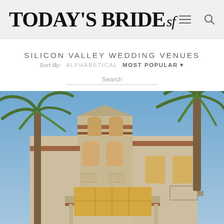TODAY'S BRIDE sf
SILICON VALLEY WEDDING VENUES
Sort By: ALPHABETICAL  MOST POPULAR
Search
[Figure (photo): Exterior photo of a Spanish-style hotel or wedding venue building with terracotta roof tiles, arched windows, a tall tower element, large palm trees flanking the entrance, and warm interior lighting visible through large windows, photographed at dusk with a clear blue sky.]